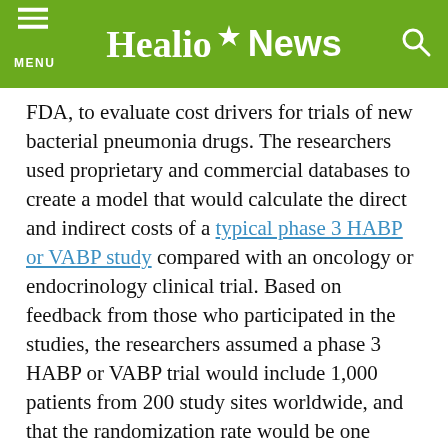Healio News
FDA, to evaluate cost drivers for trials of new bacterial pneumonia drugs. The researchers used proprietary and commercial databases to create a model that would calculate the direct and indirect costs of a typical phase 3 HABP or VABP study compared with an oncology or endocrinology clinical trial. Based on feedback from those who participated in the studies, the researchers assumed a phase 3 HABP or VABP trial would include 1,000 patients from 200 study sites worldwide, and that the randomization rate would be one patient for every 10 patients screened.
The model showed that a 1,000-patient, 200-site phase 3 trial costs $89,600 per patient, the